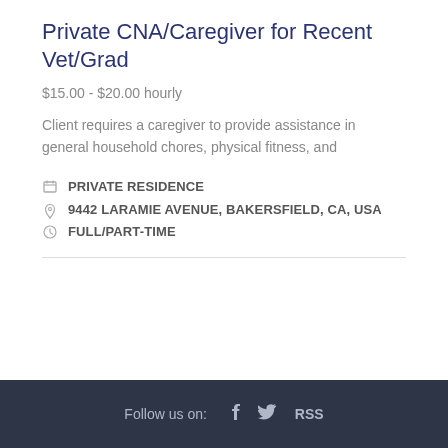Private CNA/Caregiver for Recent Vet/Grad
$15.00 - $20.00 hourly
Client requires a caregiver to provide assistance in general household chores, physical fitness, and
PRIVATE RESIDENCE
9442 LARAMIE AVENUE, BAKERSFIELD, CA, USA
FULL/PART-TIME
Follow us on:  f  [twitter]  RSS